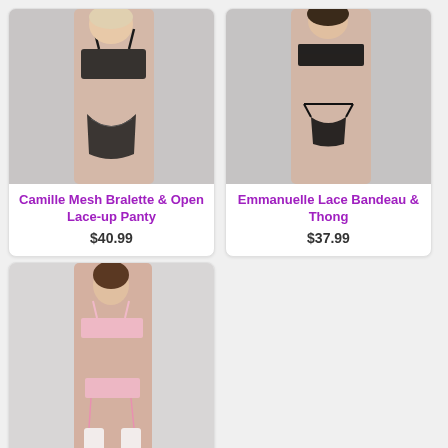[Figure (photo): Woman wearing black mesh bralette and open lace-up panty lingerie set against white background]
Camille Mesh Bralette & Open Lace-up Panty
$40.99
[Figure (photo): Woman wearing black lace bandeau bra and thong lingerie set against light interior background]
Emmanuelle Lace Bandeau & Thong
$37.99
[Figure (photo): Woman wearing pink/white lingerie set with garter belt and white stockings against white background]